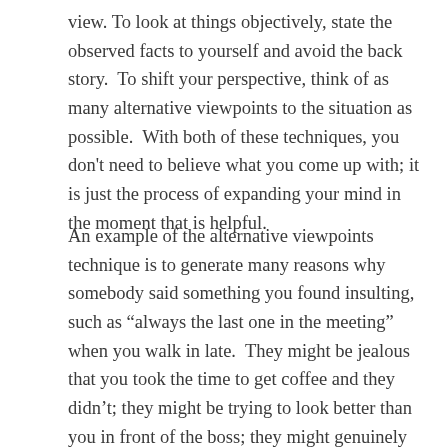view. To look at things objectively, state the observed facts to yourself and avoid the back story.  To shift your perspective, think of as many alternative viewpoints to the situation as possible.  With both of these techniques, you don't need to believe what you come up with; it is just the process of expanding your mind in the moment that is helpful.
An example of the alternative viewpoints technique is to generate many reasons why somebody said something you found insulting, such as “always the last one in the meeting” when you walk in late.  They might be jealous that you took the time to get coffee and they didn't; they might be trying to look better than you in front of the boss; they might genuinely want to give you feedback that this habit is detrimental to your career; or, they might just be trying to lighten the mood with a joke. I bet you can think of at least two more reasons. See how this technique broadens our